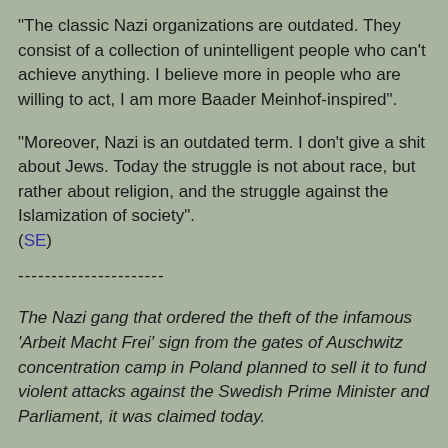"The classic Nazi organizations are outdated. They consist of a collection of unintelligent people who can't achieve anything. I believe more in people who are willing to act, I am more Baader Meinhof-inspired".
"Moreover, Nazi is an outdated term. I don't give a shit about Jews. Today the struggle is not about race, but rather about religion, and the struggle against the Islamization of society". (SE)
----------------------
The Nazi gang that ordered the theft of the infamous 'Arbeit Macht Frei' sign from the gates of Auschwitz concentration camp in Poland planned to sell it to fund violent attacks against the Swedish Prime Minister and Parliament, it was claimed today.